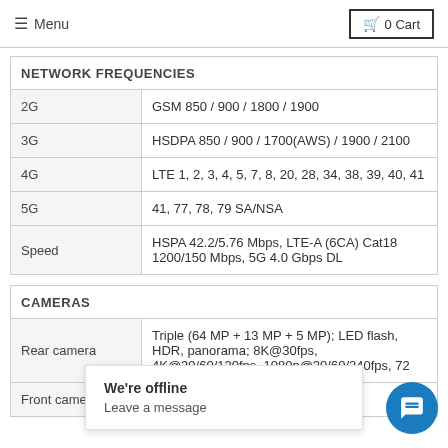≡ Menu   🛒 0 Cart
| NETWORK FREQUENCIES |  |
| --- | --- |
| 2G | GSM 850 / 900 / 1800 / 1900 |
| 3G | HSDPA 850 / 900 / 1700(AWS) / 1900 / 2100 |
| 4G | LTE 1, 2, 3, 4, 5, 7, 8, 20, 28, 34, 38, 39, 40, 41 |
| 5G | 41, 77, 78, 79 SA/NSA |
| Speed | HSPA 42.2/5.76 Mbps, LTE-A (6CA) Cat18 1200/150 Mbps, 5G 4.0 Gbps DL |
| CAMERAS |  |
| --- | --- |
| Rear camera | Triple (64 MP + 13 MP + 5 MP); LED flash, HDR, panorama; 8K@30fps, 4K@30/60/120fps, 1080p@30/60/240fps, 72... |
| Front camera | 24 ...fps |
We're offline
Leave a message